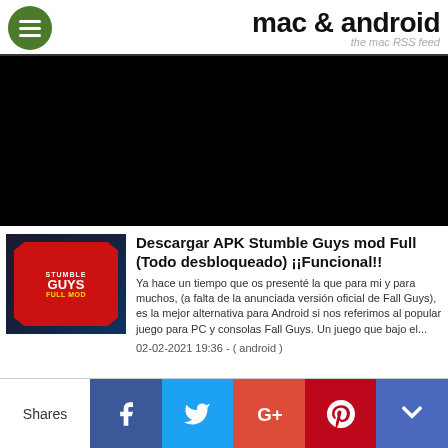mac & android — the mac RSS feed
[Figure (other): Black video/advertisement block]
[Figure (photo): Stumble Guys Full Mod APK thumbnail with red starburst badge on dark background]
Descargar APK Stumble Guys mod Full (Todo desbloqueado) ¡¡Funcional!!
Ya hace un tiempo que os presenté la que para mi y para muchos, (a falta de la anunciada versión oficial de Fall Guys), es la mejor alternativa para Android si nos referimos al popular juego para PC y consolas Fall Guys. Un juego que bajo el...
02-02-2021 19:36 - ( android )
Shares